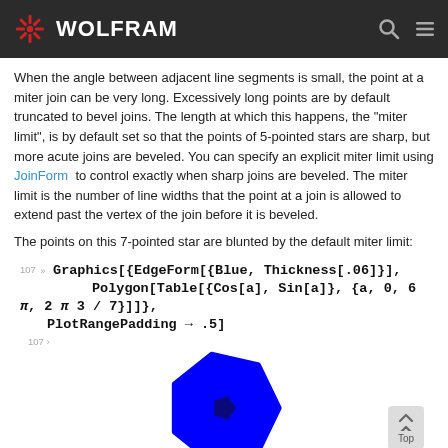WOLFRAM
When the angle between adjacent line segments is small, the point at a miter join can be very long. Excessively long points are by default truncated to bevel joins. The length at which this happens, the "miter limit", is by default set so that the points of 5-pointed stars are sharp, but more acute joins are beveled. You can specify an explicit miter limit using JoinForm to control exactly when sharp joins are beveled. The miter limit is the number of line widths that the point at a join is allowed to extend past the vertex of the join before it is beveled.
The points on this 7-pointed star are blunted by the default miter limit:
[Figure (illustration): A blue 7-pointed star shape rendered by Wolfram Graphics, with blunted miter join points visible at each tip.]